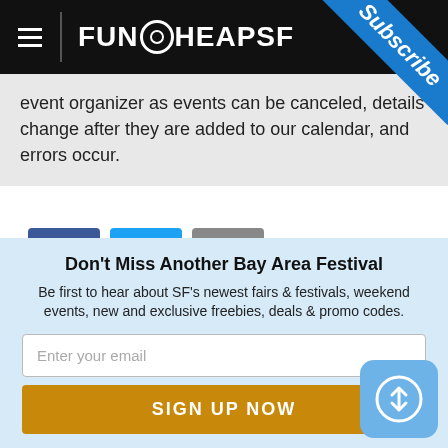FUNCHEAPSF
event organizer as events can be canceled, details change after they are added to our calendar, and errors occur.
[Figure (infographic): Social share buttons: Facebook (blue with f icon), Twitter (light blue with bird icon), Email (gray with envelope icon)]
Report Error in Post
Don't Miss Another Bay Area Festival
Be first to hear about SF's newest fairs & festivals, weekend events, new and exclusive freebies, deals & promo codes.
Enter your email
SIGN UP NOW